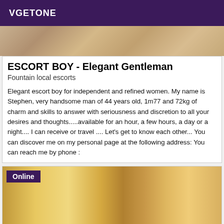VGETONE
[Figure (photo): Partial photo of a person, cropped at top]
ESCORT BOY - Elegant Gentleman
Fountain local escorts
Elegant escort boy for independent and refined women. My name is Stephen, very handsome man of 44 years old, 1m77 and 72kg of charm and skills to answer with seriousness and discretion to all your desires and thoughts.....available for an hour, a few hours, a day or a night.... I can receive or travel .... Let's get to know each other... You can discover me on my personal page at the following address: You can reach me by phone :
[Figure (photo): Photo with Online badge overlay, showing wooden door/hallway interior]